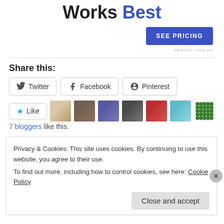Works Best
[Figure (other): SEE PRICING button (blue rectangle)]
REPORT THIS AD
Share this:
[Figure (other): Twitter, Facebook, Pinterest social share buttons]
[Figure (other): Like button with star icon and 7 blogger avatar thumbnails]
7 bloggers like this.
Privacy & Cookies: This site uses cookies. By continuing to use this website, you agree to their use. To find out more, including how to control cookies, see here: Cookie Policy
Close and accept